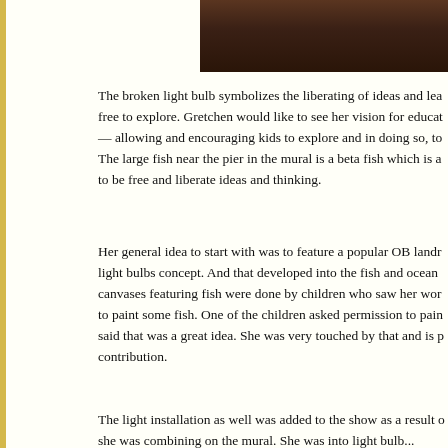[Figure (photo): Partial photo strip at top right of page showing a dark brown wooden surface or table edge]
The broken light bulb symbolizes the liberating of ideas and lea free to explore. Gretchen would like to see her vision for educat — allowing and encouraging kids to explore and in doing so, to The large fish near the pier in the mural is a beta fish which is a to be free and liberate ideas and thinking.
Her general idea to start with was to feature a popular OB landr light bulbs concept. And that developed into the fish and ocean canvases featuring fish were done by children who saw her wor to paint some fish. One of the children asked permission to pain said that was a great idea. She was very touched by that and is p contribution.
The light installation as well was added to the show as a result o she was combining on the mural. She was into light bulb...